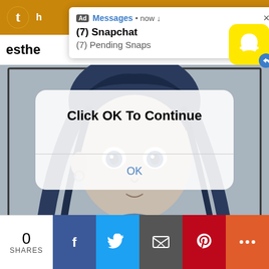[Figure (screenshot): Screenshot of a browser page (Tumblr) with a Snapchat ad notification popup at the top showing '(7) Snapchat / (7) Pending Snaps', an anime-style illustration of a girl in blue tones as the main content, a modal dialog overlay saying 'Click OK To Continue' with an OK button, and a social sharing bar at the bottom with 0 SHARES, Facebook, Twitter, Email, Pinterest, and More buttons.]